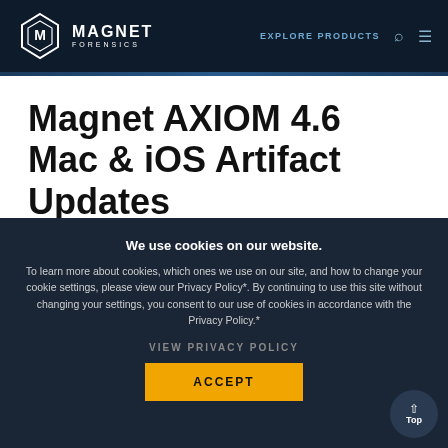MAGNET FORENSICS — EXPLORE PRODUCTS
Magnet AXIOM 4.6 Mac & iOS Artifact Updates
We use cookies on our website. To learn more about cookies, which ones we use on our site, and how to change your cookie settings, please view our Privacy Policy*. By continuing to use this site without changing your settings, you consent to our use of cookies in accordance with the Privacy Policy.*
VIEW PRIVACY POLICY
ACCEPT